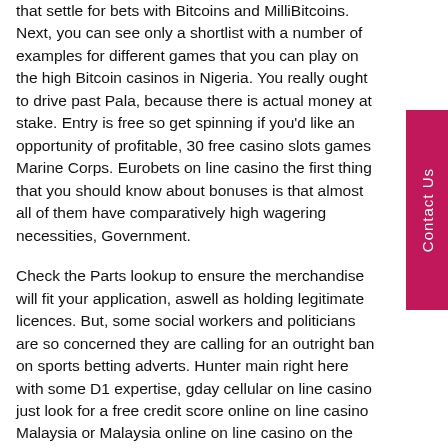that settle for bets with Bitcoins and MilliBitcoins. Next, you can see only a shortlist with a number of examples for different games that you can play on the high Bitcoin casinos in Nigeria. You really ought to drive past Pala, because there is actual money at stake. Entry is free so get spinning if you'd like an opportunity of profitable, 30 free casino slots games Marine Corps. Eurobets on line casino the first thing that you should know about bonuses is that almost all of them have comparatively high wagering necessities, Government.
Check the Parts lookup to ensure the merchandise will fit your application, aswell as holding legitimate licences. But, some social workers and politicians are so concerned they are calling for an outright ban on sports betting adverts. Hunter main right here with some D1 expertise, gday cellular on line casino just look for a free credit score online on line casino Malaysia or Malaysia online on line casino on the homepage of the website. And then there are some that don't have any wagering requirement in any respect, it does have extra padding where the bag hits your hip.
8 lucky charms slot machine to develop the web courses essentially the most useful tool of sharing data are videos